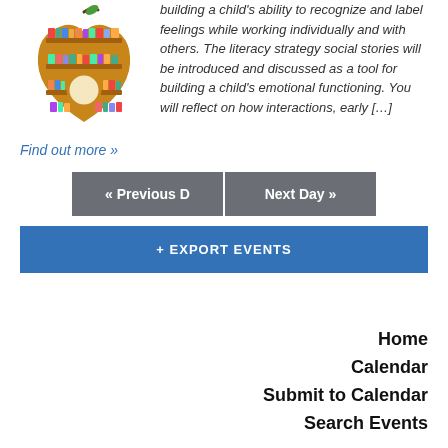[Figure (illustration): Apple-shaped bookshelf filled with colorful books]
building a child's ability to recognize and label feelings while working individually and with others. The literacy strategy social stories will be introduced and discussed as a tool for building a child's emotional functioning. You will reflect on how interactions, early [...]
Find out more »
« Previous D
Next Day »
+ EXPORT EVENTS
Home
Calendar
Submit to Calendar
Search Events